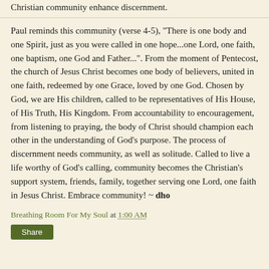Christian community enhance discernment.
Paul reminds this community (verse 4-5), "There is one body and one Spirit, just as you were called in one hope...one Lord, one faith, one baptism, one God and Father...". From the moment of Pentecost, the church of Jesus Christ becomes one body of believers, united in one faith, redeemed by one Grace, loved by one God. Chosen by God, we are His children, called to be representatives of His House, of His Truth, His Kingdom. From accountability to encouragement, from listening to praying, the body of Christ should champion each other in the understanding of God's purpose. The process of discernment needs community, as well as solitude. Called to live a life worthy of God's calling, community becomes the Christian's support system, friends, family, together serving one Lord, one faith in Jesus Christ. Embrace community! ~ dho
Breathing Room For My Soul at 1:00 AM